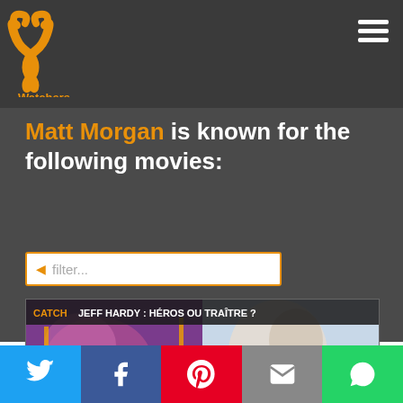PP Watchers logo and navigation menu
Matt Morgan is known for the following movies:
filter...
[Figure (photo): Movie poster for 'Jeff Hardy: Héros ou Traître?' showing a dramatic split image of Jeff Hardy with text CATCH JEFF HARDY: HÉROS OU TRAÎTRE?]
Social share buttons: Twitter, Facebook, Pinterest, Email, WhatsApp